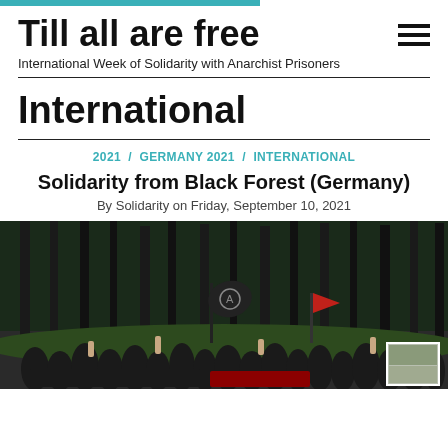Till all are free — International Week of Solidarity with Anarchist Prisoners
International
2021 / GERMANY 2021 / INTERNATIONAL
Solidarity from Black Forest (Germany)
By Solidarity on Friday, September 10, 2021
[Figure (photo): Group of people in a forest clearing, raising fists, holding black and red anarchist flags. Faces are blurred. A small thumbnail image appears in the bottom-right corner.]